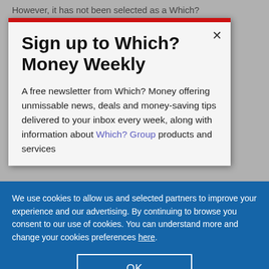However, it has not been selected as a Which?
Sign up to Which? Money Weekly
A free newsletter from Which? Money offering unmissable news, deals and money-saving tips delivered to your inbox every week, along with information about Which? Group products and services
We use cookies to allow us and selected partners to improve your experience and our advertising. By continuing to browse you consent to our use of cookies. You can understand more and change your cookies preferences here.
OK